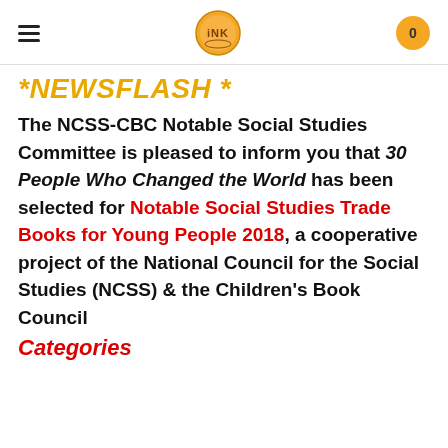INK (logo) | 0
*NEWSFLASH *
The NCSS-CBC Notable Social Studies Committee is pleased to inform you that 30 People Who Changed the World has been selected for Notable Social Studies Trade Books for Young People 2018, a cooperative project of the National Council for the Social Studies (NCSS) & the Children's Book Council
Categories